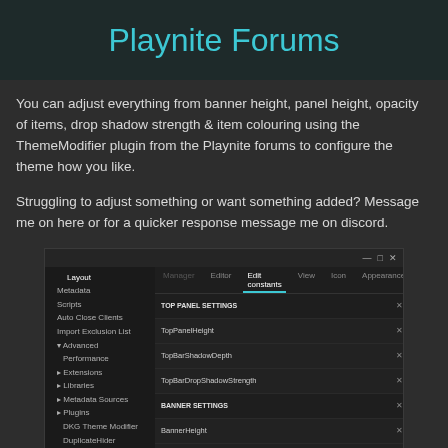Playnite Forums
You can adjust everything from banner height, panel height, opacity of items, drop shadow strength & item colouring using the ThemeModifier plugin from the Playnite forums to configure the theme how you like.
Struggling to adjust something or want something added? Message me on here or for a quicker response message me on discord.
[Figure (screenshot): Screenshot of the DKG Theme Modifier plugin settings panel in Playnite, showing a left sidebar with navigation items (Layout, Metadata, Scripts, Auto Close Clients, Import Exclusion List, Advanced, Performance, Extensions, Libraries, Metadata Sources, Plugins including DKG Theme Modifier, DuplicateHider, QuickSearch, DescriptionEditor, GameActivity, HowLongToBeat, LibraryManagement) and on the right side a settings panel with tabs (Manager, Editor, Edit constants, View, Icon, Appearance) showing TOP PANEL SETTINGS (TopPanelHeight, TopBarShadowDepth, TopBarDropShadowStrength) and BANNER SETTINGS (BannerHeight, BannerDarkeningBrush, BannerBarOpacity).]